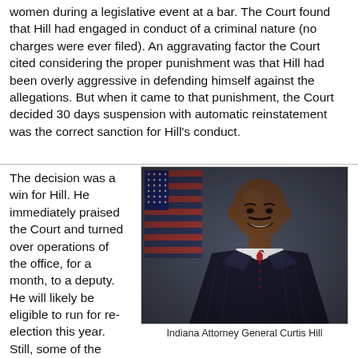Attorney General Curtis Hill who was accused of groping four women during a legislative event at a bar. The Court found that Hill had engaged in conduct of a criminal nature (no charges were ever filed). An aggravating factor the Court cited considering the proper punishment was that Hill had been overly aggressive in defending himself against the allegations. But when it came to that punishment, the Court decided 30 days suspension with automatic reinstatement was the correct sanction for Hill's conduct.
The decision was a win for Hill. He immediately praised the Court and turned over operations of the office, for a month, to a deputy. He will likely be eligible to run for re-election this year. Still, some of the factual findings
[Figure (photo): Official portrait photo of Indiana Attorney General Curtis Hill, a Black man in a dark pinstripe suit and red tie, smiling, with an American flag in the background.]
Indiana Attorney General Curtis Hill